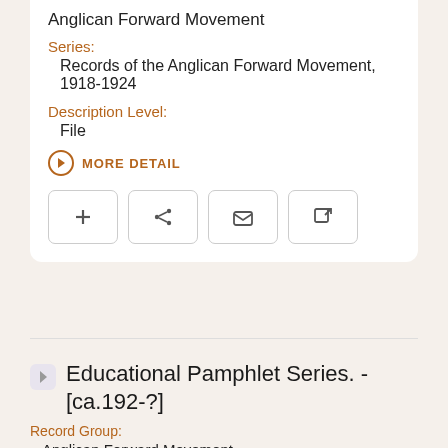Anglican Forward Movement
Series:
Records of the Anglican Forward Movement, 1918-1924
Description Level:
File
MORE DETAIL
Educational Pamphlet Series. - [ca.192-?]
Record Group:
Anglican Forward Movement